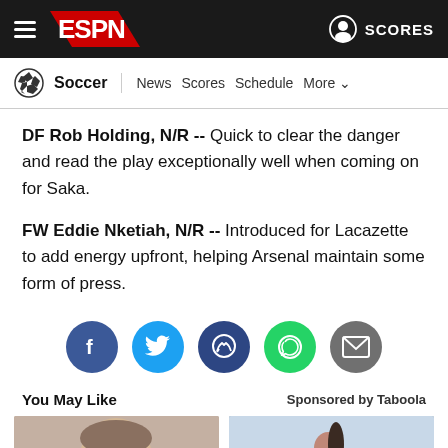ESPN — Soccer | News | Scores | Schedule | More
DF Rob Holding, N/R -- Quick to clear the danger and read the play exceptionally well when coming on for Saka.
FW Eddie Nketiah, N/R -- Introduced for Lacazette to add energy upfront, helping Arsenal maintain some form of press.
[Figure (infographic): Social share icons row: Facebook, Twitter, Messenger, WhatsApp, Email]
You May Like
Sponsored by Taboola
[Figure (photo): Man holding a device (advertisement thumbnail)]
[Figure (photo): Woman in athletic wear outdoors (advertisement thumbnail)]